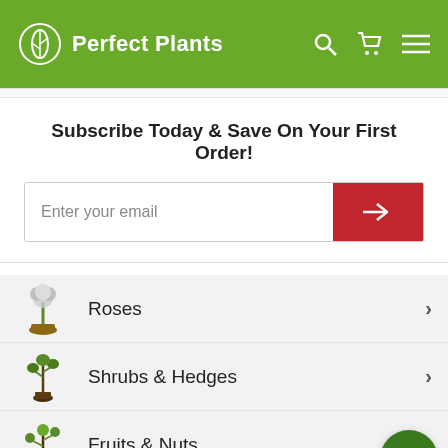Perfect Plants
Subscribe Today & Save On Your First Order!
Enter your email
Roses
Shrubs & Hedges
Fruits & Nuts
Trees